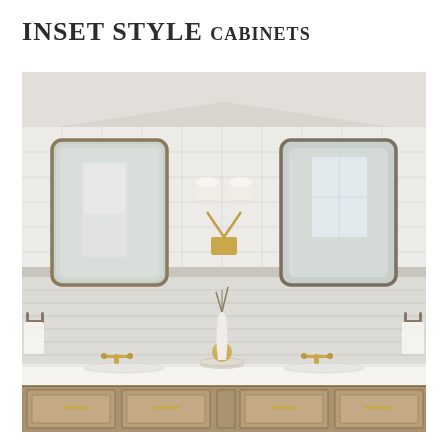Inset Style cabinets
[Figure (photo): Elegant bathroom with double vanity featuring inset-style wood cabinets with brass hardware, white quartz countertop with two undermount sinks, two rectangular mirrors with rounded corners in brass/bronze frames, a wall sconce with two white shades between the mirrors, towel bars with white towels on each side, white subway tile walls above a white shiplap wainscoting, and decorative vase with a gold orb on the countertop.]